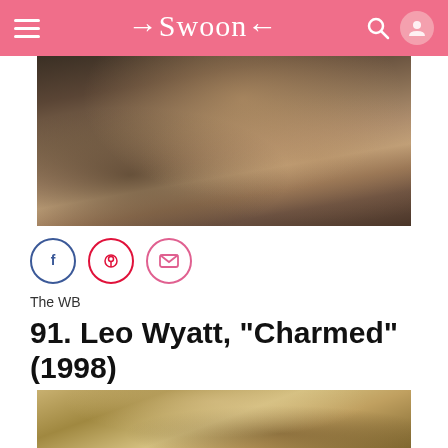Swoon
[Figure (photo): Close-up of a man in a grey blazer and open-collar shirt, partially visible face, indoor setting with bookshelves]
[Figure (infographic): Social sharing buttons: Facebook (f), Pinterest (p), Email (envelope)]
The WB
91. Leo Wyatt, "Charmed" (1998)
[Figure (photo): Close-up of a brown-haired man, top portion of head visible, blurred warm background]